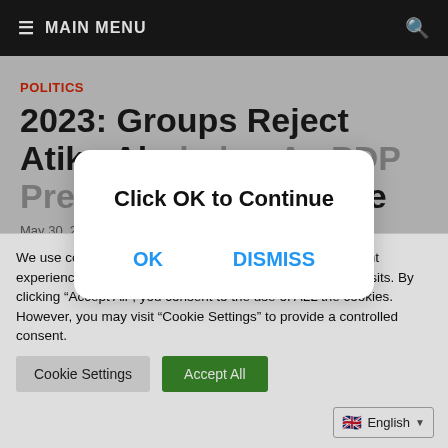≡ MAIN MENU
POLITICS
2023: Groups Reject Atiku Abubakar As PDP Presidential Candidate
May 30, 2022 · Leave a Comment
[Figure (screenshot): Modal dialog with 'Click OK to Continue' message and OK / DISMISS buttons]
We use cookies on our website to give you the most relevant experience by remembering your preferences and repeat visits. By clicking "Accept All", you consent to the use of ALL the cookies. However, you may visit "Cookie Settings" to provide a controlled consent.
Cookie Settings   Accept All
English